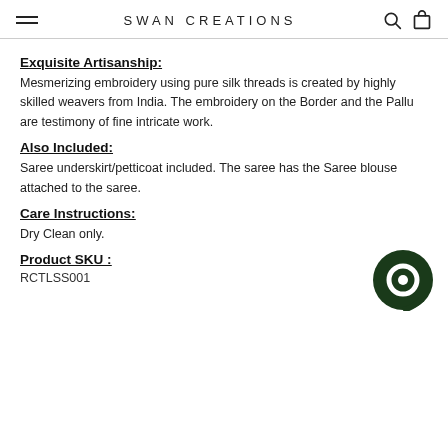SWAN CREATIONS
Exquisite Artisanship:
Mesmerizing embroidery using pure silk threads is created by highly skilled weavers from India. The embroidery on the Border and the Pallu are testimony of fine intricate work.
Also Included:
Saree underskirt/petticoat included. The saree has the Saree blouse attached to the saree.
Care Instructions:
Dry Clean only.
Product SKU :
RCTLSS001